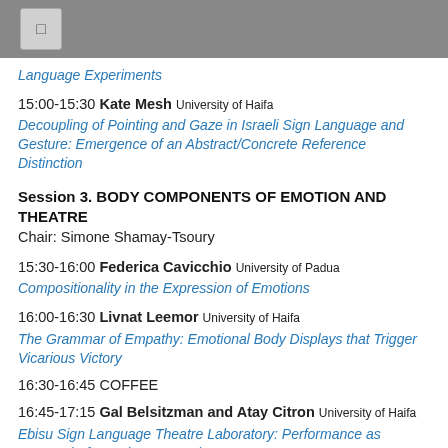Language Experiments
15:00-15:30 Kate Mesh University of Haifa
Decoupling of Pointing and Gaze in Israeli Sign Language and Gesture: Emergence of an Abstract/Concrete Reference Distinction
Session 3. BODY COMPONENTS OF EMOTION AND THEATRE
Chair: Simone Shamay-Tsoury
15:30-16:00 Federica Cavicchio University of Padua
Compositionality in the Expression of Emotions
16:00-16:30 Livnat Leemor University of Haifa
The Grammar of Empathy: Emotional Body Displays that Trigger Vicarious Victory
16:30-16:45 COFFEE
16:45-17:15 Gal Belsitzman and Atay Citron University of Haifa
Ebisu Sign Language Theatre Laboratory: Performance as Research, from Phase 1 to Phase 2